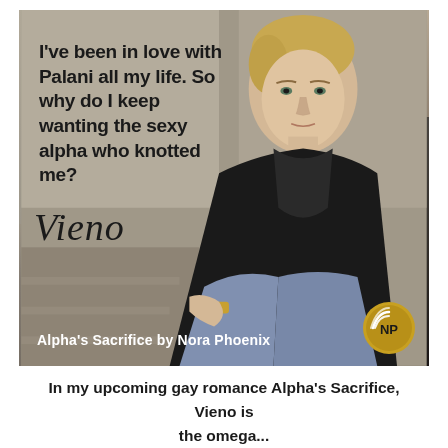[Figure (photo): Book promotional image showing a young blond man in a black leather jacket sitting on steps against a wall with graffiti. Text overlaid on the image reads: 'I've been in love with Palani all my life. So why do I keep wanting the sexy alpha who knotted me?' with a cursive 'Vieno' signature below. Bottom left reads 'Alpha's Sacrifice by Nora Phoenix'. A gold NP logo circle is in the bottom right.]
In my upcoming gay romance Alpha's Sacrifice, Vieno is the omega...